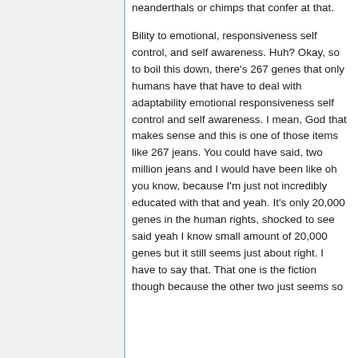neanderthals or chimps that confer at that.
Bility to emotional, responsiveness self control, and self awareness. Huh? Okay, so to boil this down, there's 267 genes that only humans have that have to deal with adaptability emotional responsiveness self control and self awareness. I mean, God that makes sense and this is one of those items like 267 jeans. You could have said, two million jeans and I would have been like oh you know, because I'm just not incredibly educated with that and yeah. It's only 20,000 genes in the human rights, shocked to see said yeah I know small amount of 20,000 genes but it still seems just about right. I have to say that. That one is the fiction though because the other two just seems so